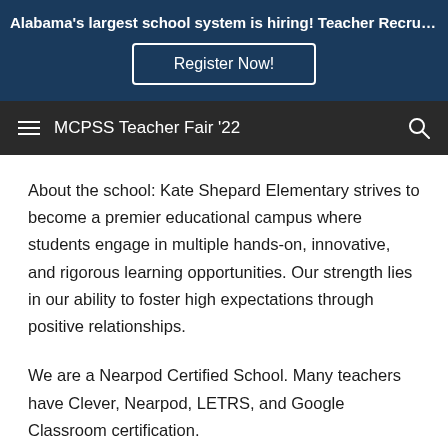Alabama's largest school system is hiring! Teacher Recruitment F...
Register Now!
MCPSS Teacher Fair '22
About the school: Kate Shepard Elementary strives to become a premier educational campus where students engage in multiple hands-on, innovative, and rigorous learning opportunities. Our strength lies in our ability to foster high expectations through positive relationships.
We are a Nearpod Certified School. Many teachers have Clever, Nearpod, LETRS, and Google Classroom certification.